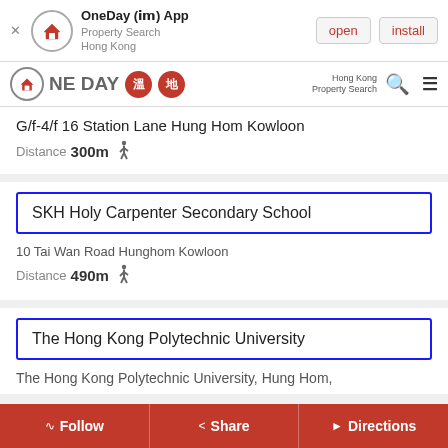[Figure (screenshot): OneDay app banner with open and install buttons]
[Figure (logo): OneDay property search Hong Kong navigation bar with logo badges and search icon]
G/f-4/f 16 Station Lane Hung Hom Kowloon
Distance 300m
SKH Holy Carpenter Secondary School
10 Tai Wan Road Hunghom Kowloon
Distance 490m
The Hong Kong Polytechnic University
The Hong Kong Polytechnic University, Hung Hom,
Follow   Share   Directions